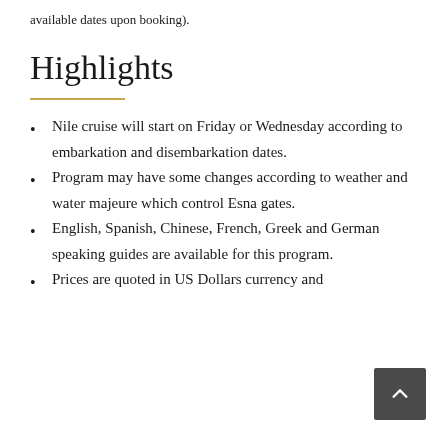available dates upon booking).
Highlights
Nile cruise will start on Friday or Wednesday according to embarkation and disembarkation dates.
Program may have some changes according to weather and water majeure which control Esna gates.
English, Spanish, Chinese, French, Greek and German speaking guides are available for this program.
Prices are quoted in US Dollars currency and